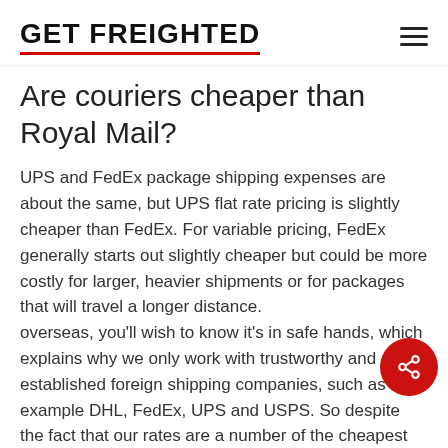GET FREIGHTED
Are couriers cheaper than Royal Mail?
UPS and FedEx package shipping expenses are about the same, but UPS flat rate pricing is slightly cheaper than FedEx. For variable pricing, FedEx generally starts out slightly cheaper but could be more costly for larger, heavier shipments or for packages that will travel a longer distance.
overseas, you'll wish to know it's in safe hands, which explains why we only work with trustworthy and established foreign shipping companies, such as for example DHL, FedEx, UPS and USPS. So despite the fact that our rates are a number of the cheapest on the web, they'll become no compromise on support. Our customers really find our local courier service rates are cheaper than those at the postoffice.